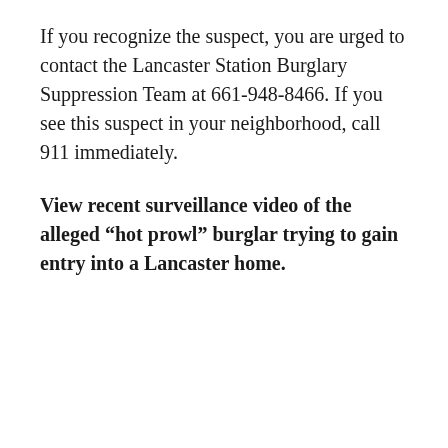If you recognize the suspect, you are urged to contact the Lancaster Station Burglary Suppression Team at 661-948-8466. If you see this suspect in your neighborhood, call 911 immediately.
View recent surveillance video of the alleged “hot prowl” burglar trying to gain entry into a Lancaster home.